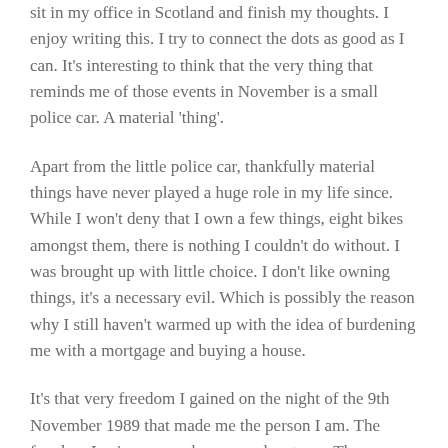sit in my office in Scotland and finish my thoughts. I enjoy writing this. I try to connect the dots as good as I can. It's interesting to think that the very thing that reminds me of those events in November is a small police car. A material 'thing'.
Apart from the little police car, thankfully material things have never played a huge role in my life since. While I won't deny that I own a few things, eight bikes amongst them, there is nothing I couldn't do without. I was brought up with little choice. I don't like owning things, it's a necessary evil. Which is possibly the reason why I still haven't warmed up with the idea of burdening me with a mortgage and buying a house.
It's that very freedom I gained on the night of the 9th November 1989 that made me the person I am. The freedom I enjoy so much on my adventures. The freedom that I enjoy so much when riding my bike. The freedom that gives me the ability to inspire others. It's the night of the 9th November that will always make me